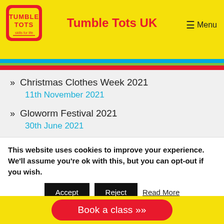Tumble Tots UK
[Figure (logo): Tumble Tots logo — red and yellow with 'skills for life' text]
Christmas Clothes Week 2021
11th November 2021
Gloworm Festival 2021
30th June 2021
This website uses cookies to improve your experience. We'll assume you're ok with this, but you can opt-out if you wish.
27th January 2020
Book a class >>